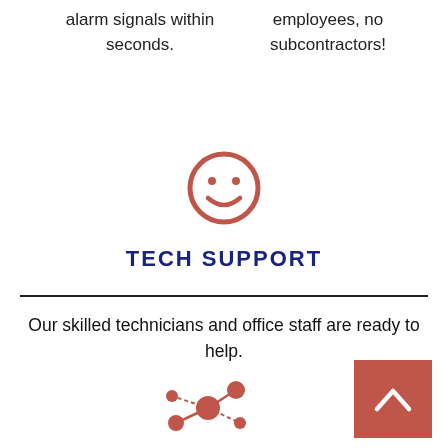alarm signals within seconds.
employees, no subcontractors!
[Figure (illustration): Red smiley face icon (circle with two dot eyes and a curved smile)]
TECH SUPPORT
Our skilled technicians and office staff are ready to help.
[Figure (illustration): Red network/connectivity nodes icon with circles connected by lines]
LEADING TECHNOLOGY
[Figure (illustration): Red back-to-top button: square with an upward chevron/arrow]